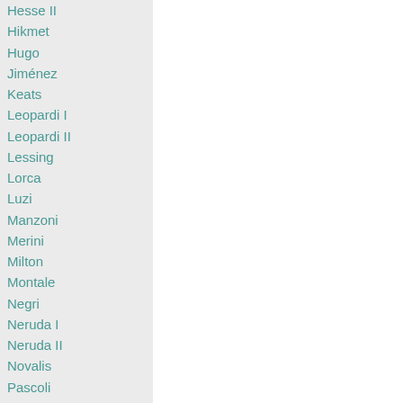Hesse II
Hikmet
Hugo
Jiménez
Keats
Leopardi I
Leopardi II
Lessing
Lorca
Luzi
Manzoni
Merini
Milton
Montale
Negri
Neruda I
Neruda II
Novalis
Pascoli
Pasolini
Pavese
Paz
Pessoa
Pirandello
Pozzi Antonia
Prevert
Quasimodo
Rimbaud
Rodari